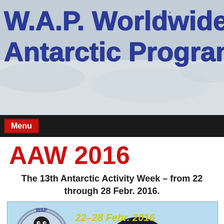W.A.P. Worldwide Antarctic Program
Menu
AAW 2016
The 13th Antarctic Activity Week – from 22 through 28 Febr. 2016.
[Figure (illustration): AAW 2016 event logo showing a penguin head, WAP Linux penguin logo badge, and the text '22–28 Febr. 2016' in yellow on a light blue background]